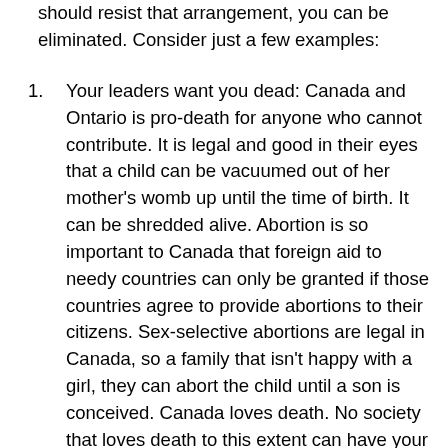should resist that arrangement, you can be eliminated. Consider just a few examples:
Your leaders want you dead: Canada and Ontario is pro-death for anyone who cannot contribute. It is legal and good in their eyes that a child can be vacuumed out of her mother's womb up until the time of birth. It can be shredded alive. Abortion is so important to Canada that foreign aid to needy countries can only be granted if those countries agree to provide abortions to their citizens. Sex-selective abortions are legal in Canada, so a family that isn't happy with a girl, they can abort the child until a son is conceived. Canada loves death. No society that loves death to this extent can have your best interests at heart. You are next. We need to face the fact that we are a nation of barbarians on this point alone. You must